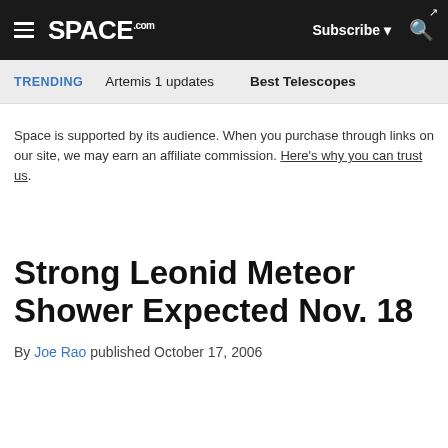SPACE.com — Subscribe — Search
TRENDING   Artemis 1 updates   Best Telescopes
Space is supported by its audience. When you purchase through links on our site, we may earn an affiliate commission. Here's why you can trust us.
Strong Leonid Meteor Shower Expected Nov. 18
By Joe Rao published October 17, 2006